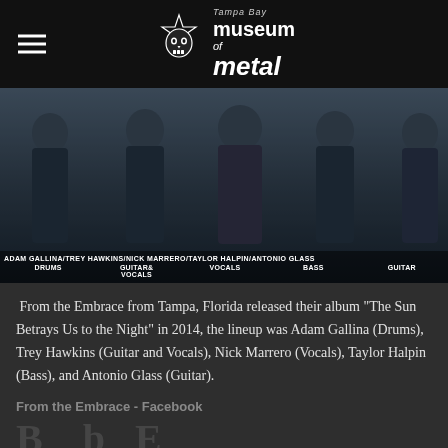Tampa Bay Museum of Metal
[Figure (photo): Band photo of From the Embrace showing five members (Adam Gallina, Trey Hawkins, Nick Marrero, Taylor Halpin, Antonio Glass) with name and role labels: DRUMS, GUITAR & VOCALS, VOCALS, BASS, GUITAR]
From the Embrace from Tampa, Florida released their album "The Sun Betrays Us to the Night" in 2014, the lineup was Adam Gallina (Drums), Trey Hawkins (Guitar and Vocals), Nick Marrero (Vocals), Taylor Halpin (Bass), and Antonio Glass (Guitar).
From the Embrace - Facebook